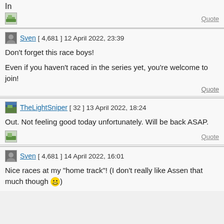In
Quote
Sven [ 4,681 ] 12 April 2022, 23:39
Don't forget this race boys!

Even if you haven't raced in the series yet, you're welcome to join!
Quote
TheLightSniper [ 32 ] 13 April 2022, 18:24
Out. Not feeling good today unfortunately. Will be back ASAP.
Quote
Sven [ 4,681 ] 14 April 2022, 16:01
Nice races at my "home track"! (I don't really like Assen that much though 😁)